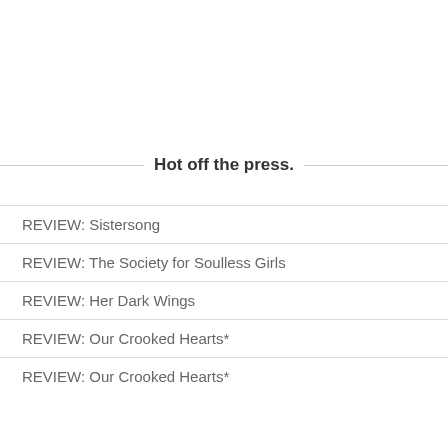Hot off the press.
REVIEW: Sistersong
REVIEW: The Society for Soulless Girls
REVIEW: Her Dark Wings
REVIEW: Our Crooked Hearts*
REVIEW: Our Crooked Hearts*